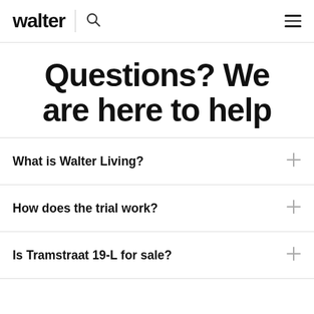walter
Questions? We are here to help
What is Walter Living?
How does the trial work?
Is Tramstraat 19-L for sale?